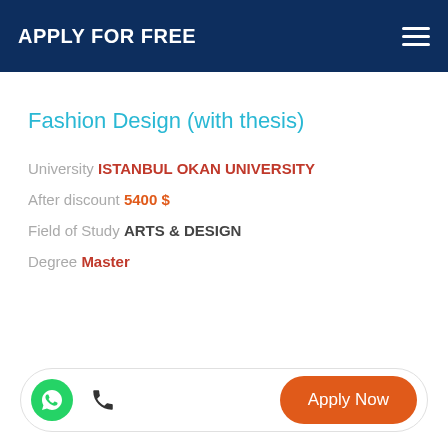APPLY FOR FREE
Fashion Design (with thesis)
University ISTANBUL OKAN UNIVERSITY
After discount 5400 $
Field of Study ARTS & DESIGN
Degree Master